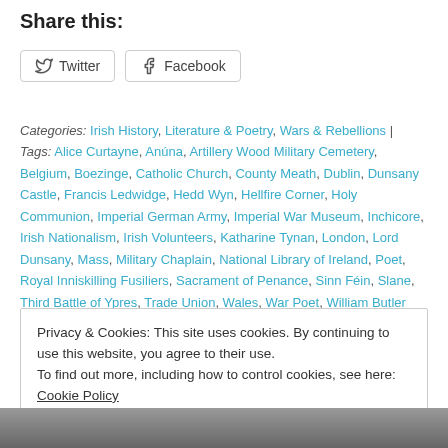Share this:
Twitter  Facebook
Categories: Irish History, Literature & Poetry, Wars & Rebellions | Tags: Alice Curtayne, Anúna, Artillery Wood Military Cemetery, Belgium, Boezinge, Catholic Church, County Meath, Dublin, Dunsany Castle, Francis Ledwidge, Hedd Wyn, Hellfire Corner, Holy Communion, Imperial German Army, Imperial War Museum, Inchicore, Irish Nationalism, Irish Volunteers, Katharine Tynan, London, Lord Dunsany, Mass, Military Chaplain, National Library of Ireland, Poet, Royal Inniskilling Fusiliers, Sacrament of Penance, Sinn Féin, Slane, Third Battle of Ypres, Trade Union, Wales, War Poet, William Butler Yeats, World War I, Ypres Salient | Permalink.
Privacy & Cookies: This site uses cookies. By continuing to use this website, you agree to their use.
To find out more, including how to control cookies, see here: Cookie Policy
Close and accept
[Figure (photo): Black and white photograph strip at the bottom of the page]